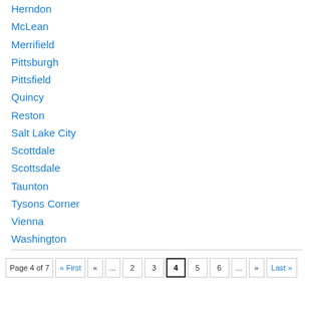Herndon
McLean
Merrifield
Pittsburgh
Pittsfield
Quincy
Reston
Salt Lake City
Scottdale
Scottsdale
Taunton
Tysons Corner
Vienna
Washington
Page 4 of 7 « First « ... 2 3 4 5 6 ... » Last »